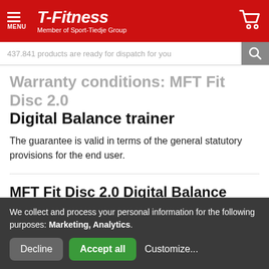T-Fitness — Member of Sport-Tiedje Group
437.841 products are ready for dispatch for you
Warranty conditions: MFT Fit Disc 2.0 Digital Balance trainer
The guarantee is valid in terms of the general statutory provisions for the end user.
MFT Fit Disc 2.0 Digital Balance trainer Test & Evaluations
We collect and process your personal information for the following purposes: Marketing, Analytics.
Decline  Accept all  Customize...